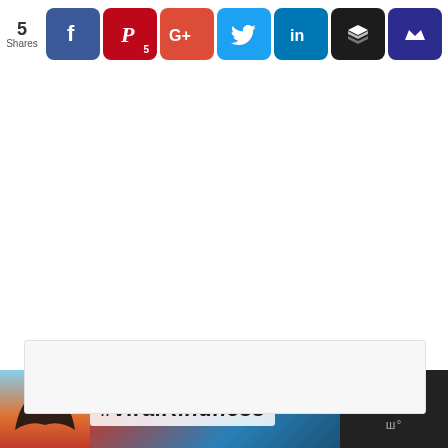[Figure (infographic): Social share bar with share count (5 Shares) and buttons for Facebook, Pinterest (5), Google+, Twitter, LinkedIn, Buffer, and Feedly]
[Figure (infographic): Advertisement banner at bottom with heart hands silhouette photo, #ViralKindness text, close X button, and side panel with X icon and W degree symbol]